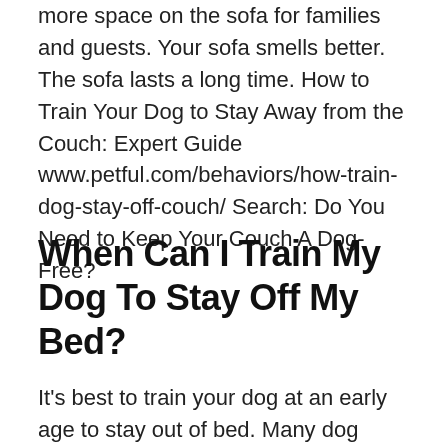more space on the sofa for families and guests. Your sofa smells better. The sofa lasts a long time. How to Train Your Dog to Stay Away from the Couch: Expert Guide www.petful.com/behaviors/how-train-dog-stay-off-couch/ Search: Do You Need to Keep Your Couch A Dog-Free?
When Can I Train My Dog To Stay Off My Bed?
It's best to train your dog at an early age to stay out of bed. Many dog owners share their beds even with small Snoopy and large...